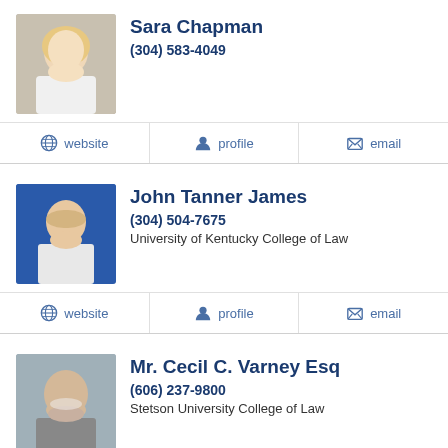[Figure (photo): Profile photo of Sara Chapman, blonde woman in white blazer]
Sara Chapman
(304) 583-4049
website  profile  email
[Figure (photo): Profile photo of John Tanner James, man with beard in shirt and tie, blue background]
John Tanner James
(304) 504-7675
University of Kentucky College of Law
website  profile  email
[Figure (photo): Profile photo of Mr. Cecil C. Varney Esq, older man with glasses and white beard]
Mr. Cecil C. Varney Esq
(606) 237-9800
Stetson University College of Law
profile